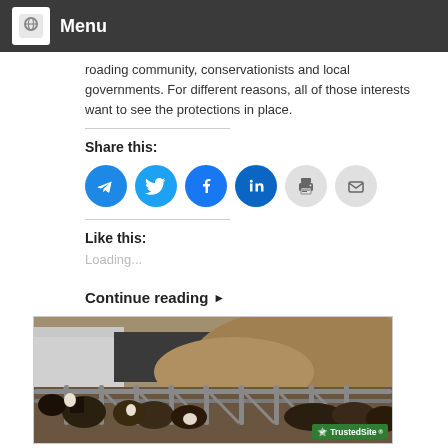Menu
roading community, conservationists and local governments. For different reasons, all of those interests want to see the protections in place.
Share this:
[Figure (other): Six circular social media share icons: Telegram (blue), Twitter (blue), Facebook (blue), LinkedIn (dark blue), Print (gray), Email (gray)]
Like this:
Loading...
Continue reading ▶
[Figure (photo): Photo of cattle behind a metal fence/gate in a feedlot setting, with buildings and dry hills in the background]